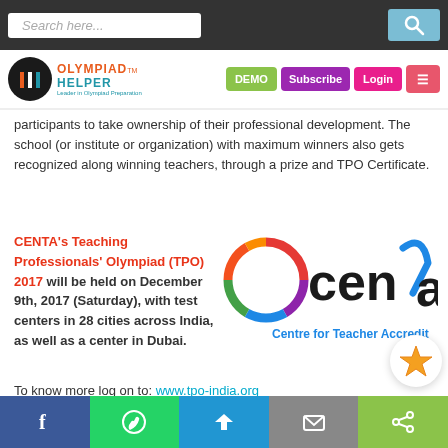Search here...
[Figure (logo): Olympiad Helper logo with navigation buttons: DEMO, Subscribe, Login, menu]
participants to take ownership of their professional development. The school (or institute or organization) with maximum winners also gets recognized along winning teachers, through a prize and TPO Certificate.
CENTA's Teaching Professionals' Olympiad (TPO) 2017 will be held on December 9th, 2017 (Saturday), with test centers in 28 cities across India, as well as a center in Dubai.
[Figure (logo): CENTA logo - Centre for Teacher Accreditation with colorful circular emblem and checkmark]
To know more log on to: www.tpo-india.org
Facebook | WhatsApp | Telegram | Email | Share